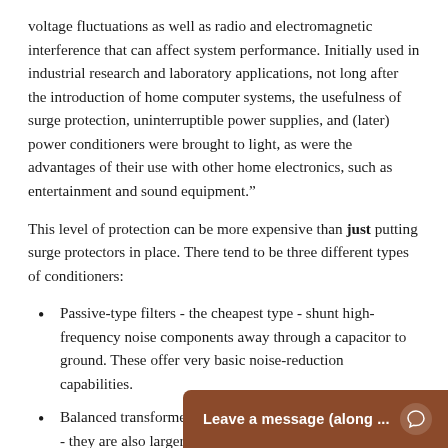voltage fluctuations as well as radio and electromagnetic interference that can affect system performance. Initially used in industrial research and laboratory applications, not long after the introduction of home computer systems, the usefulness of surge protection, uninterruptible power supplies, and (later) power conditioners were brought to light, as were the advantages of their use with other home electronics, such as entertainment and sound equipment.”
This level of protection can be more expensive than just putting surge protectors in place. There tend to be three different types of conditioners:
Passive-type filters - the cheapest type - shunt high-frequency noise components away through a capacitor to ground. These offer very basic noise-reduction capabilities.
Balanced transformer – more expensive than passive-type - they are also larger, heavier, and noisier, and offer limited power delivery due to the limitations of the transformer.
AC regenerative type...